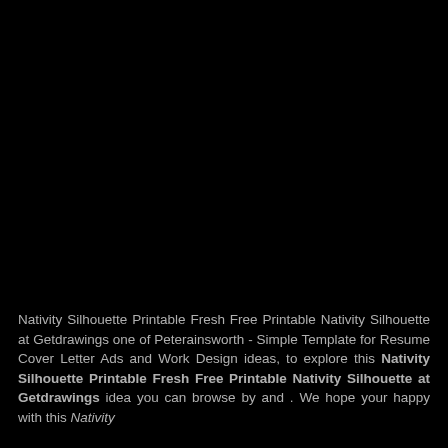[Figure (photo): Large black image area occupying the top portion of the page]
Nativity Silhouette Printable Fresh Free Printable Nativity Silhouette at Getdrawings one of Peterainsworth - Simple Template for Resume Cover Letter Ads and Work Design ideas, to explore this Nativity Silhouette Printable Fresh Free Printable Nativity Silhouette at Getdrawings idea you can browse by and . We hope your happy with this Nativity